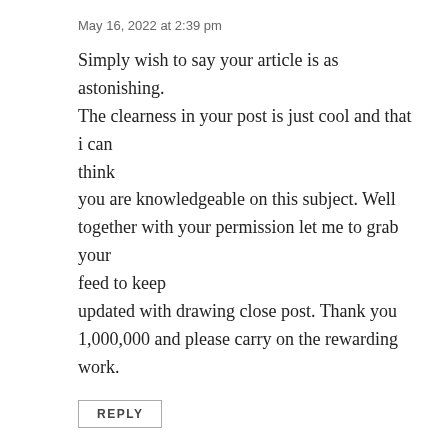May 16, 2022 at 2:39 pm
Simply wish to say your article is as astonishing. The clearness in your post is just cool and that i can think you are knowledgeable on this subject. Well together with your permission let me to grab your feed to keep updated with drawing close post. Thank you 1,000,000 and please carry on the rewarding work.
REPLY
can cbd oil cause you to stay awake
May 15, 2022 at 9:51 pm
can cbd irritate prostate